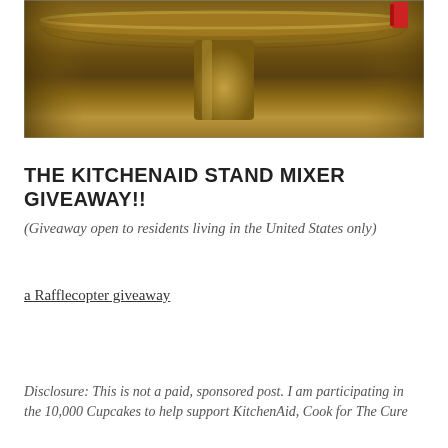[Figure (photo): Close-up photograph of a wooden cake stand or pedestal with warm brown tones, a red accent visible in the upper right corner]
THE KITCHENAID STAND MIXER GIVEAWAY!!
(Giveaway open to residents living in the United States only)
a Rafflecopter giveaway
Disclosure: This is not a paid, sponsored post. I am participating in the 10,000 Cupcakes to help support KitchenAid, Cook for The Cure